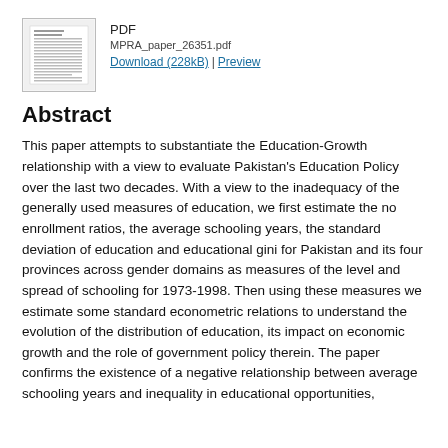[Figure (screenshot): Thumbnail preview image of a PDF document page showing dense text content]
PDF
MPRA_paper_26351.pdf
Download (228kB) | Preview
Abstract
This paper attempts to substantiate the Education-Growth relationship with a view to evaluate Pakistan's Education Policy over the last two decades. With a view to the inadequacy of the generally used measures of education, we first estimate the no enrollment ratios, the average schooling years, the standard deviation of education and educational gini for Pakistan and its four provinces across gender domains as measures of the level and spread of schooling for 1973-1998. Then using these measures we estimate some standard econometric relations to understand the evolution of the distribution of education, its impact on economic growth and the role of government policy therein. The paper confirms the existence of a negative relationship between average schooling years and inequality in educational opportunities,